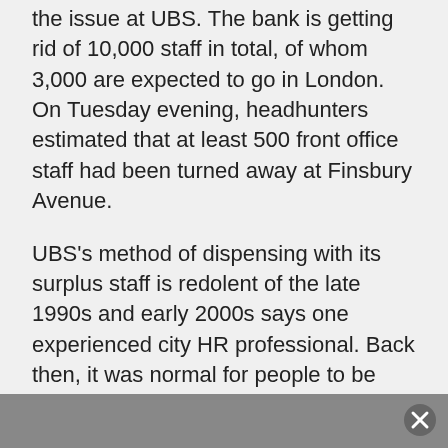the issue at UBS. The bank is getting rid of 10,000 staff in total, of whom 3,000 are expected to go in London. On Tuesday evening, headhunters estimated that at least 500 front office staff had been turned away at Finsbury Avenue.
UBS's method of dispensing with its surplus staff is redolent of the late 1990s and early 2000s says one experienced city HR professional. Back then, it was normal for people to be shunted into a room and told they weren't required, or for hundreds of bankers to be called into an auditorium where they were handed different colored letters indicating their employment status.
More recently, the thinking has become that it's inadvisable to gather too many redundant bankers in one room at the same time, say HR professionals.
“All it takes is for one person to get upset or angry and the emotion catches,” says one. “I’ve seen a director being punched as he walked down the corridor after the